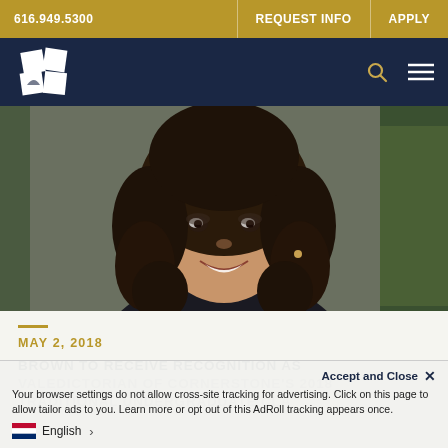616.949.5300 | REQUEST INFO | APPLY
[Figure (logo): Cornerstone University logo - white diamond/square shape with leaf element on dark navy background, gold search and hamburger menu icons]
[Figure (photo): Portrait photo of a young woman with curly dark hair, smiling, wearing dark clothing, photographed against a blurred outdoor background]
MAY 2, 2018
BROWN TO RECEIVE RECOGNITION AS VALEDICTORIAN OF CORNERSTONE'S 2018 TRADITIONAL UNDERGRADUATE CLA...
Accept and Close ×
Your browser settings do not allow cross-site tracking for advertising. Click on this page to allow tailor ads to you. Learn more or opt out of this AdRoll tracking appears once.
English >